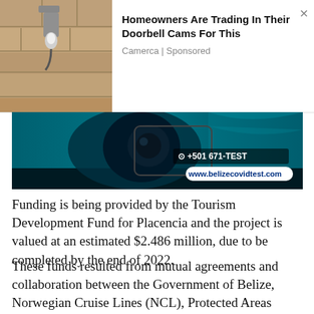[Figure (advertisement): Ad banner with outdoor security camera mounted on wall (left image) and text: 'Homeowners Are Trading In Their Doorbell Cams For This' by Camerca | Sponsored, with close button X]
[Figure (photo): Teal/dark promotional image showing a close-up of a security camera on a phone or device, with text '+501 671-TEST' and 'www.belizecovidtest.com' on a white rounded rectangle badge]
Funding is being provided by the Tourism Development Fund for Placencia and the project is valued at an estimated $2.486 million, due to be completed by the end of 2022.
These funds resulted from mutual agreements and collaboration between the Government of Belize, Norwegian Cruise Lines (NCL), Protected Areas Conservation Trust (PACT) and Belize Tourism Board, with the aim to develop